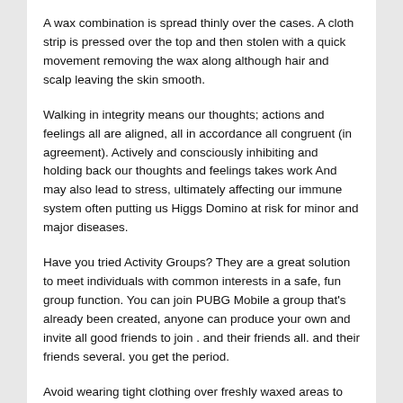A wax combination is spread thinly over the cases. A cloth strip is pressed over the top and then stolen with a quick movement removing the wax along although hair and scalp leaving the skin smooth.
Walking in integrity means our thoughts; actions and feelings all are aligned, all in accordance all congruent (in agreement). Actively and consciously inhibiting and holding back our thoughts and feelings takes work And may also lead to stress, ultimately affecting our immune system often putting us Higgs Domino at risk for minor and major diseases.
Have you tried Activity Groups? They are a great solution to meet individuals with common interests in a safe, fun group function. You can join PUBG Mobile a group that's already been created, anyone can produce your own and invite all good friends to join . and their friends all. and their friends several. you get the period.
Avoid wearing tight clothing over freshly waxed areas to